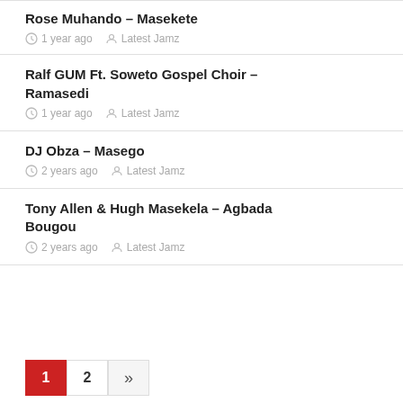Rose Muhando – Masekete
1 year ago   Latest Jamz
Ralf GUM Ft. Soweto Gospel Choir – Ramasedi
1 year ago   Latest Jamz
DJ Obza – Masego
2 years ago   Latest Jamz
Tony Allen & Hugh Masekela – Agbada Bougou
2 years ago   Latest Jamz
1  2  »